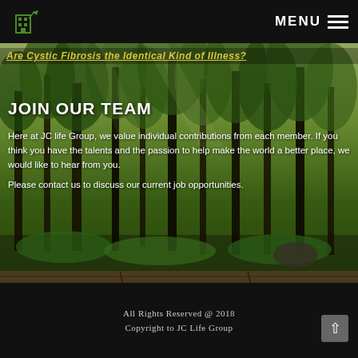MENU
[Figure (photo): Forest with tall green trees and sunlight filtering through canopy, with a wooden deck/floor visible at the bottom]
Are Cystic Fibrosis the Identical Kind of Illness?
JOIN OUR TEAM
Here at JC life Group, we value individual contributions from each member. If you think you have the talents and the passion to help make the world a better place, we would like to hear from you. Please contact us to discuss our current job opportunities.
All Rights Reserved @ 2018
Copyright to JC Life Group